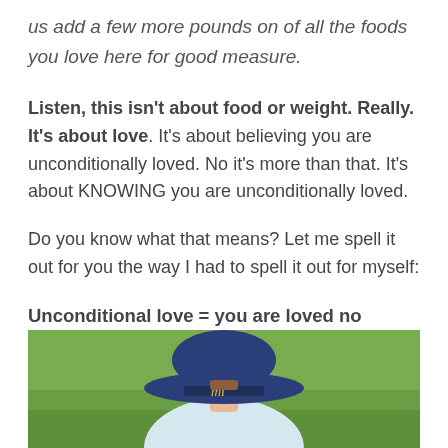us add a few more pounds on of all the foods you love here for good measure.
Listen, this isn't about food or weight. Really. It's about love. It's about believing you are unconditionally loved. No it's more than that. It's about KNOWING you are unconditionally loved.
Do you know what that means? Let me spell it out for you the way I had to spell it out for myself:
Unconditional love = you are loved no matter what.
[Figure (photo): Photo of a child wearing a navy blue Michigan 'mi' baseball cap, viewed from behind, with green grass background]